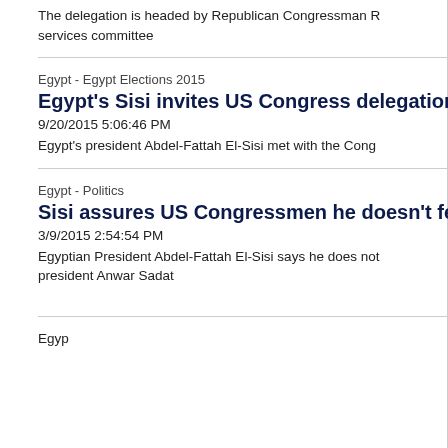The delegation is headed by Republican Congressman R… services committee
Egypt - Egypt Elections 2015
Egypt's Sisi invites US Congress delegation
9/20/2015 5:06:46 PM
Egypt's president Abdel-Fattah El-Sisi met with the Cong…
Egypt - Politics
Sisi assures US Congressmen he doesn't fe
3/9/2015 2:54:54 PM
Egyptian President Abdel-Fattah El-Sisi says he does not… president Anwar Sadat
Egyp…